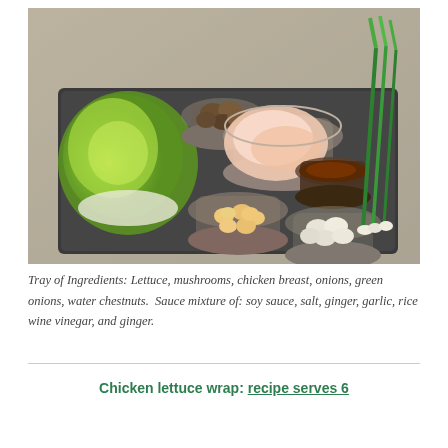[Figure (photo): A tray of raw ingredients including a head of lettuce, a bowl of mushrooms, a bowl of raw chicken breast, small bowls of water chestnuts and diced onions, a bowl of sauce, and fresh green onions, all arranged on a dark baking tray.]
Tray of Ingredients: Lettuce, mushrooms, chicken breast, onions, green onions, water chestnuts.  Sauce mixture of: soy sauce, salt, ginger, garlic, rice wine vinegar, and ginger.
Chicken lettuce wrap: recipe serves 6